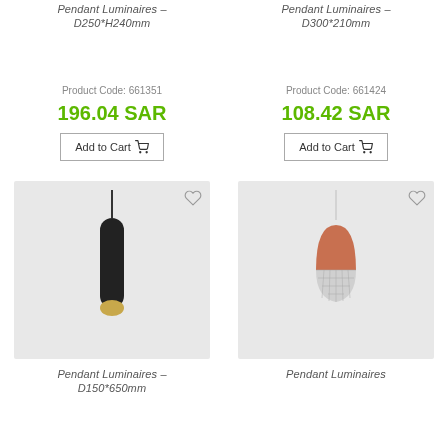Pendant Luminaires – D250*H240mm
Product Code: 661351
196.04 SAR
Add to Cart
Pendant Luminaires – D300*210mm
Product Code: 661424
108.42 SAR
Add to Cart
[Figure (photo): Black cylindrical pendant luminaire with gold bottom cap, hanging from a cord, on gray background]
Pendant Luminaires – D150*650mm
[Figure (photo): Rose gold pendant luminaire with copper upper dome and silver mesh/crystal lower half, hanging from a thin cord, on gray background]
Pendant Luminaires